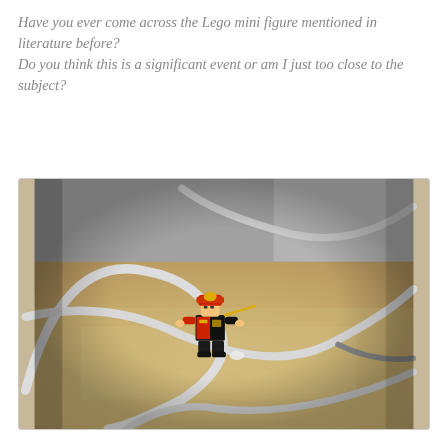Have you ever come across the Lego mini figure mentioned in literature before?
Do you think this is a significant event or am I just too close to the subject?
[Figure (photo): Close-up photograph of a Lego minifigure (appearing to be a pirate or warrior character with red and black coloring, gold helmet/hat) lying on a sandy/carpeted surface surrounded by white cables/cords.]